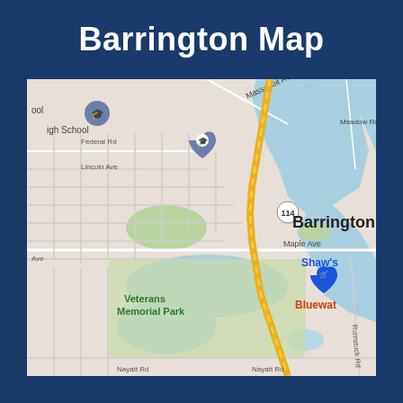Barrington Map
[Figure (map): Google Maps view of Barrington, Rhode Island showing streets, waterways (Barrington River, Palmer River), landmarks including Veterans Memorial Park, Shaw's grocery store, Barrington High School, route 114, and roads including Massasoit Ave, Meadow Rd, Federal Rd, Lincoln Ave, Maple Ave, Nayatt Rd, Rumstuck Rd. A blue location pin marks Shaw's store.]